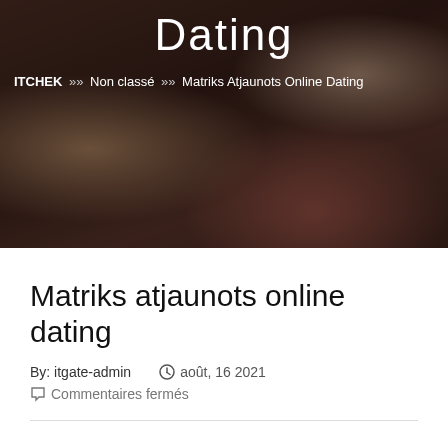[Figure (photo): Hero banner image showing two people toasting with wine glasses over a wooden table, with watches and jewelry visible, overlaid with dark semi-transparent overlay]
Dating
ITCHEK >> Non classé >> Matriks Atjaunots Online Dating
Matriks atjaunots online dating
By: itgate-admin   août, 16 2021
Commentaires fermés